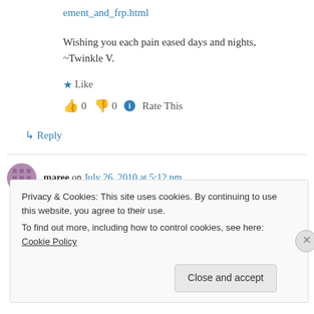ement_and_frp.html
Wishing you each pain eased days and nights,
~Twinkle V.
★ Like
👍 0 👎 0 ℹ Rate This
↳ Reply
maree on July 26, 2010 at 5:12 pm
Privacy & Cookies: This site uses cookies. By continuing to use this website, you agree to their use.
To find out more, including how to control cookies, see here: Cookie Policy
Close and accept